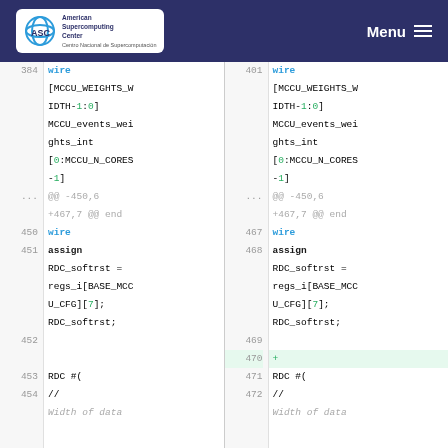American Supercomputing Center — Menu
Code diff showing Verilog source lines 384-454 (left) and 401-472 (right), including wire declarations for MCCU_events_weights_int, wire RDC_softrst, assign RDC_softrst = regs_i[BASE_MCCU_CFG][7]; and RDC #( // Width of data
@@ -450,6 +467,7 @@ end — diff context header on both sides, line 470 added (+)